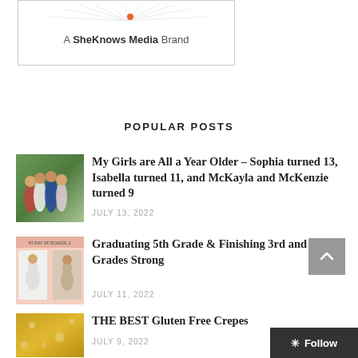[Figure (logo): A SheKnows Media Brand logo with sunburst graphic and orange dot]
POPULAR POSTS
[Figure (photo): Group of four girls standing outdoors in front of green foliage]
My Girls are All a Year Older – Sophia turned 13, Isabella turned 11, and McKayla and McKenzie turned 9
JULY 13, 2022
[Figure (photo): First Day of School photo collage with girls in dresses]
Graduating 5th Grade & Finishing 3rd and 7th Grades Strong
JULY 11, 2022
[Figure (photo): Golden/yellow textured background photo]
THE BEST Gluten Free Crepes
JULY 9, 2022